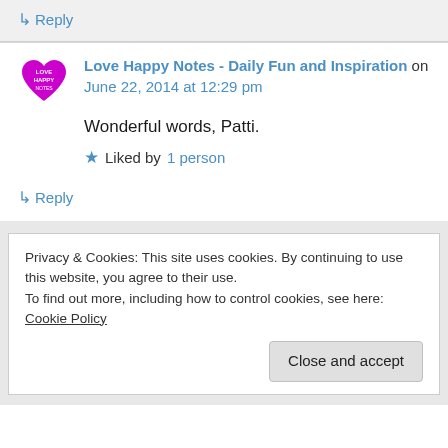↳ Reply
Love Happy Notes - Daily Fun and Inspiration on June 22, 2014 at 12:29 pm
Wonderful words, Patti.
★ Liked by 1 person
↳ Reply
Privacy & Cookies: This site uses cookies. By continuing to use this website, you agree to their use.
To find out more, including how to control cookies, see here: Cookie Policy
Close and accept